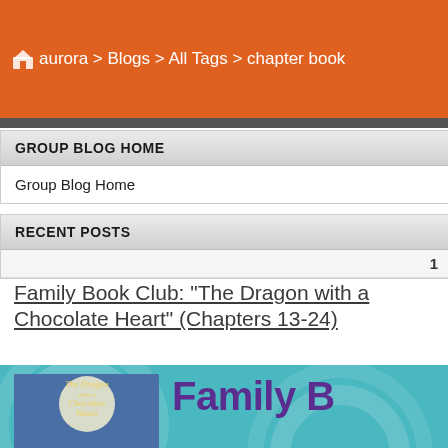aurora > Blogs > All Tags > chapter book
GROUP BLOG HOME
Group Blog Home
RECENT POSTS
1
Family Book Club: "The Dragon with a Chocolate Heart" (Chapters 13-24)
[Figure (illustration): Promotional banner for Family Book Club featuring the book cover of The Dragon with a Chocolate Heart and text reading Family B[ook Club], Meet the Author, Ste[phanie Burgis], Saturday, Aug. 28, 1 p.[m.] on a teal background with circular design elements.]